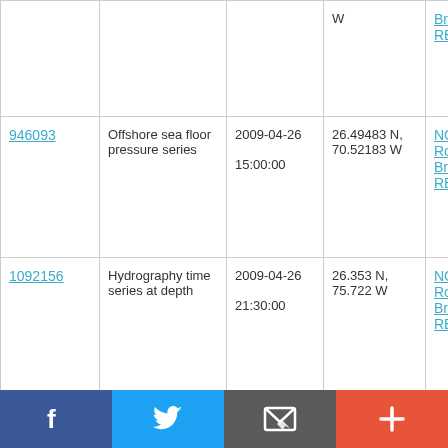| ID | Type | Date/Time | Location | Source |
| --- | --- | --- | --- | --- |
|  |  |  | W | Brown RB0901 |
| 946093 | Offshore sea floor pressure series | 2009-04-26 15:00:00 | 26.49483 N, 70.52183 W | NOAA Ship Ronald H. Brown RB0901 |
| 1092156 | Hydrography time series at depth | 2009-04-26 21:30:00 | 26.353 N, 75.722 W | NOAA Ship Ronald H. Brown RB0901 |
| 1092168 | Hydrography time series | 2009-04-26 | 26.353 N, 75.722 W | NOAA Ship |